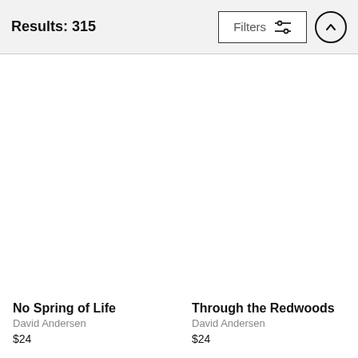Results: 315
Filters
No Spring of Life
David Andersen
$24
Through the Redwoods
David Andersen
$24